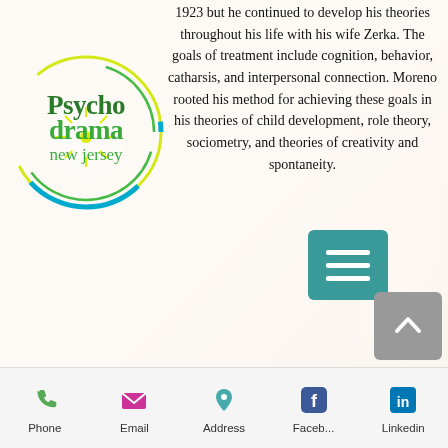[Figure (logo): Psychodrama New Jersey circular logo with teal/green/yellow swirl design and text overlay]
1923 but he continued to develop his theories throughout his life with his wife Zerka. The goals of treatment include cognition, behavior, catharsis, and interpersonal connection. Moreno rooted his method for achieving these goals in his theories of child development, role theory, sociometry, and theories of creativity and spontaneity.
Those trained and educated in psychodrama, sociometry, and group psychotherapy help individuals and groups explore their challenges in creative ways intended to initiate meaningful action in the lives of their clients'. Psychodrama treatment provides individuals, groups, and families the opportunity to explore interpersonal relations, express feelings, and find resolution for issues within one's self as well as transcendent aspects of human
Phone   Email   Address   Faceb...   Linkedin